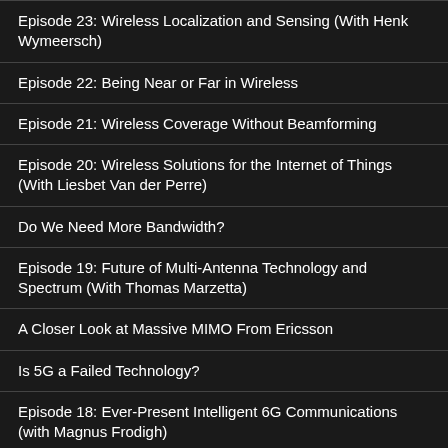Episode 23: Wireless Localization and Sensing (With Henk Wymeersch)
Episode 22: Being Near or Far in Wireless
Episode 21: Wireless Coverage Without Beamforming
Episode 20: Wireless Solutions for the Internet of Things (With Liesbet Van der Perre)
Do We Need More Bandwidth?
Episode 19: Future of Multi-Antenna Technology and Spectrum (With Thomas Marzetta)
A Closer Look at Massive MIMO From Ericsson
Is 5G a Failed Technology?
Episode 18: Ever-Present Intelligent 6G Communications (with Magnus Frodigh)
It is All About Multiplexing